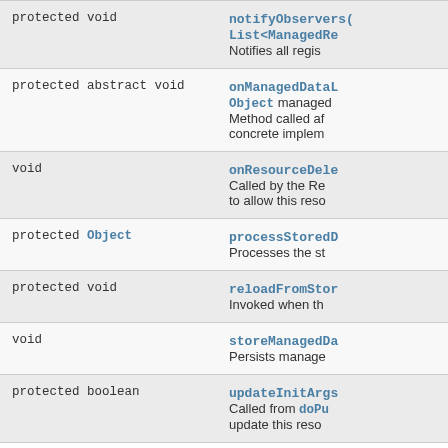| Modifier and Type | Method and Description |
| --- | --- |
| protected void | notifyObservers(
List<ManagedRe...
Notifies all regis... |
| protected abstract void | onManagedDataL...
Object managed...
Method called af...
concrete implem... |
| void | onResourceDele...
Called by the Re...
to allow this resc... |
| protected Object | processStoredD...
Processes the st... |
| protected void | reloadFromStor...
Invoked when th... |
| void | storeManagedDa...
Persists manage... |
| protected boolean | updateInitArgs...
Called from doPu...
update this reso... |